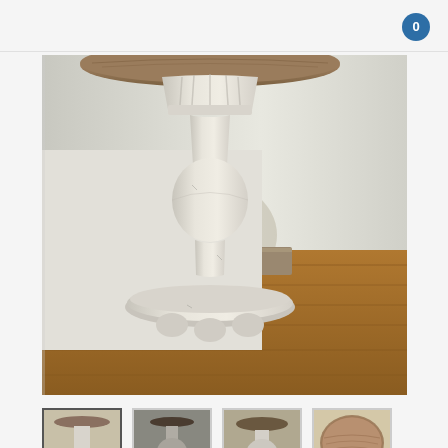0
[Figure (photo): Close-up photo of a pedestal side table with a distressed white/cream painted turned wooden base and round bun feet, set against a white wall on hardwood flooring. The tabletop is round with a natural wood finish.]
[Figure (photo): Thumbnail 1 (active/selected): Full view of the pedestal table showing white base and round wood top, with the table against a white wall.]
[Figure (photo): Thumbnail 2: Side profile of the pedestal table showing white painted turned base, darker view.]
[Figure (photo): Thumbnail 3: Side profile of the pedestal table showing the turned base and round top from a slightly different angle.]
[Figure (photo): Thumbnail 4: Close-up of the round natural wood tabletop surface showing wood grain texture.]